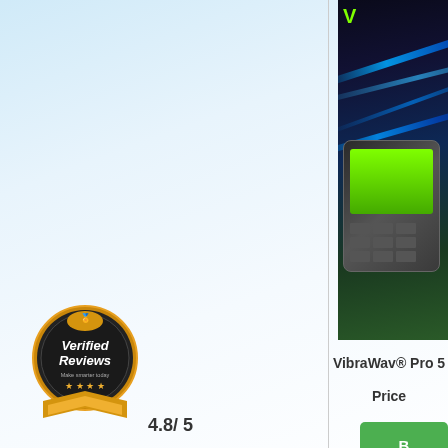[Figure (screenshot): Product listing page showing VibraWav Pro device with dark background and green/blue streaks, partially cropped at right]
VibraWav® Pro 5
Price
[Figure (screenshot): Second product listing card showing VibraWav grid/icon display, partially cropped]
[Figure (logo): Verified Reviews badge - circular dark badge with gold ribbon, stars, text 'Verified Reviews Make smarter today']
4.8/ 5